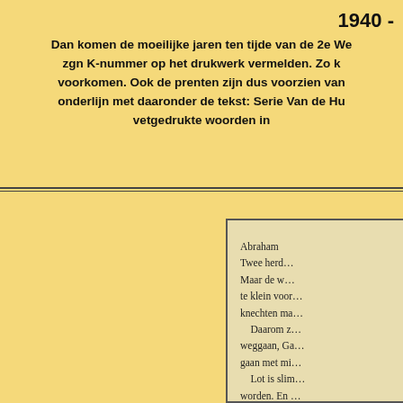1940 -
Dan komen de moeilijke jaren ten tijde van de 2e We zgn K-nummer op het drukwerk vermelden. Zo k voorkomen. Ook de prenten zijn dus voorzien van onderlijn met daaronder de tekst: Serie Van de Hu vetgedrukte woorden in
[Figure (photo): Partial view of a book page with Dutch text about Abraham, two shepherds (Twee herd...), and passages about Lot and land.]